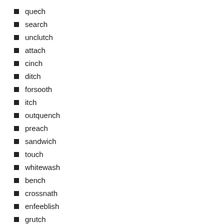quech
search
unclutch
attach
cinch
ditch
forsooth
itch
outquench
preach
sandwich
touch
whitewash
bench
crossnath
enfeeblish
grutch